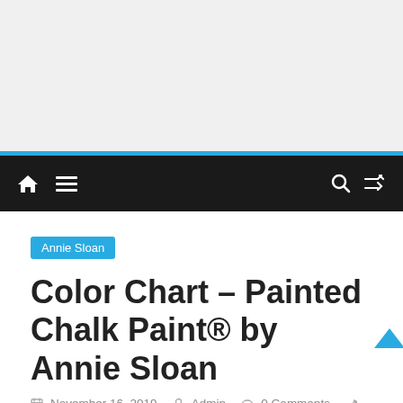[Figure (other): Gray advertisement placeholder area]
[Figure (other): Website navigation bar with home icon, hamburger menu, search icon, and shuffle icon on dark background]
Annie Sloan
Color Chart – Painted Chalk Paint® by Annie Sloan
November 16, 2019  Admin  0 Comments  Annie,
Chalk, Chart, Color, Graphite, Paint, Painted, Sloan, Wall